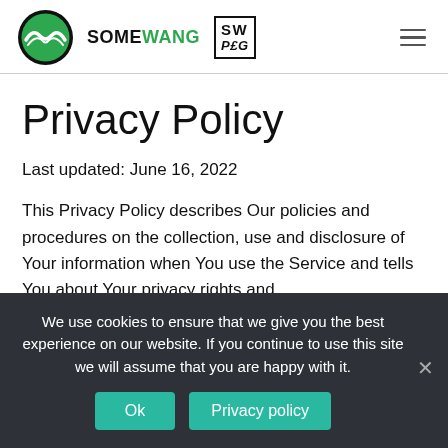SOMEWANG | SWPEG
Privacy Policy
Last updated: June 16, 2022
This Privacy Policy describes Our policies and procedures on the collection, use and disclosure of Your information when You use the Service and tells You about Your privacy rights and
We use cookies to ensure that we give you the best experience on our website. If you continue to use this site we will assume that you are happy with it.
Ok | Privacy policy